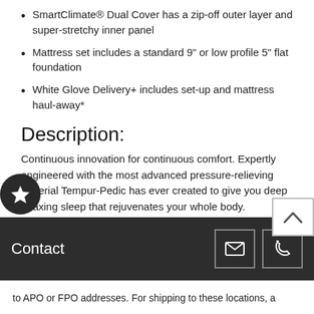SmartClimate® Dual Cover has a zip-off outer layer and super-stretchy inner panel
Mattress set includes a standard 9" or low profile 5" flat foundation
White Glove Delivery+ includes set-up and mattress haul-away*
Description:
Continuous innovation for continuous comfort. Expertly engineered with the most advanced pressure-relieving material Tempur-Pedic has ever created to give you deep relaxing sleep that rejuvenates your whole body. Introducing TEMPUR-APR® exclusively available in TEMPUR-ProAdapt™ Soft beds. This set includes a standard 9" or low profile 5" flat mattress foundation.
Contact
to APO or FPO addresses. For shipping to these locations, a